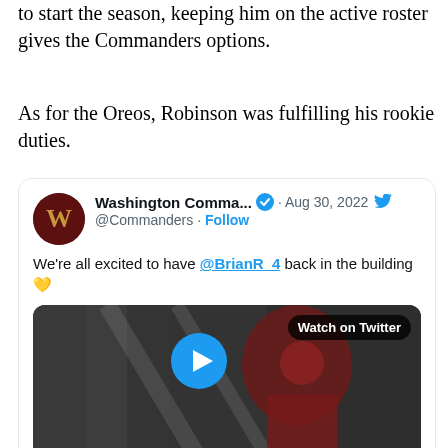to start the season, keeping him on the active roster gives the Commanders options.
As for the Oreos, Robinson was fulfilling his rookie duties.
[Figure (screenshot): Embedded tweet from @WashingtonCommanders dated Aug 30, 2022, with text: We're all excited to have @BrianR_4 back in the building 💛, and a video thumbnail showing a player in burgundy and gold uniform on stairs with a 'Watch on Twitter' badge and blue play button.]